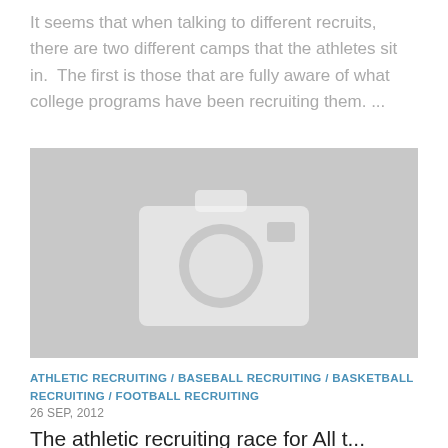It seems that when talking to different recruits, there are two different camps that the athletes sit in.  The first is those that are fully aware of what college programs have been recruiting them. ...
[Figure (photo): Placeholder image with a grey background and a white camera icon in the center]
ATHLETIC RECRUITING / BASEBALL RECRUITING / BASKETBALL RECRUITING / FOOTBALL RECRUITING
26 SEP, 2012
The athletic recruiting race for All the t...